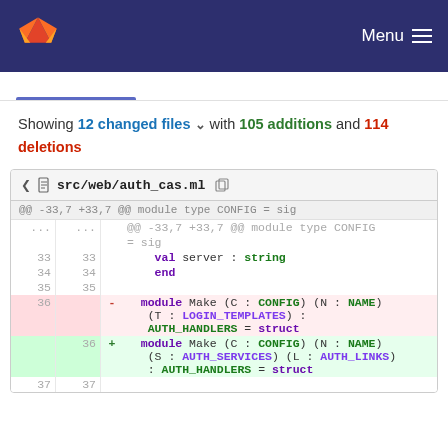GitLab — Menu
Showing 12 changed files with 105 additions and 114 deletions
[Figure (screenshot): GitLab diff view of src/web/auth_cas.ml showing lines 33-37, with a deletion of module Make (C : CONFIG) (N : NAME) (T : LOGIN_TEMPLATES) : AUTH_HANDLERS = struct and addition of module Make (C : CONFIG) (N : NAME) (S : AUTH_SERVICES) (L : AUTH_LINKS) : AUTH_HANDLERS = struct]